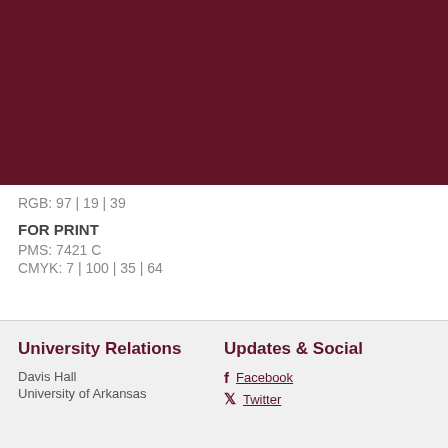[Figure (other): Dark maroon/burgundy color swatch rectangle]
RGB: 97 | 19 | 39
FOR PRINT
PMS: 7421 C
CMYK: 7 | 100 | 35 | 64
University Relations
Davis Hall
University of Arkansas

Updates & Social
Facebook
Twitter